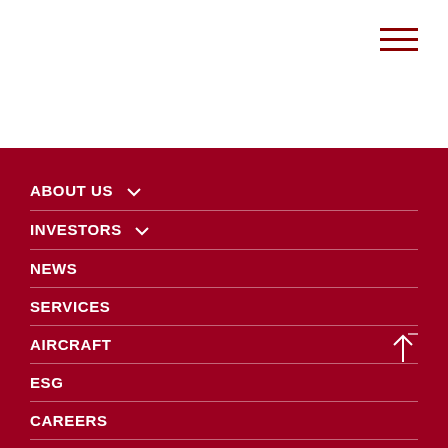Navigation header with hamburger menu
ABOUT US
INVESTORS
NEWS
SERVICES
AIRCRAFT
ESG
CAREERS
CONTACT US